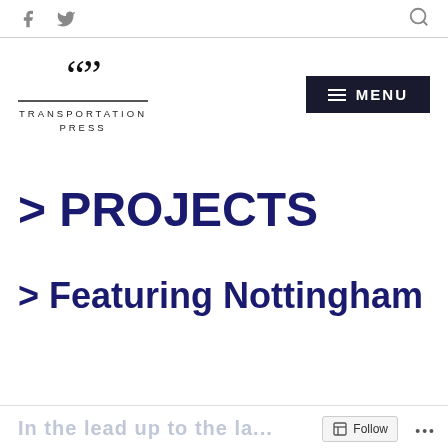Social icons (Facebook, Twitter) and Search icon
[Figure (logo): Transportation Press logo with large quotation marks, double horizontal line, and text TRANSPORTATION PRESS]
[Figure (other): Dark navy MENU button with hamburger icon]
> PROJECTS
> Featuring Nottingham
In the lead up to the la... Follow ...